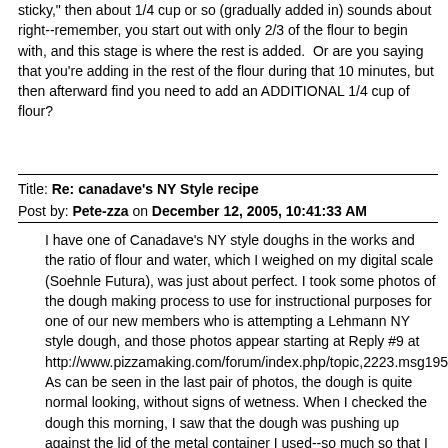sticky," then about 1/4 cup or so (gradually added in) sounds about right--remember, you start out with only 2/3 of the flour to begin with, and this stage is where the rest is added.  Or are you saying that you're adding in the rest of the flour during that 10 minutes, but then afterward find you need to add an ADDITIONAL 1/4 cup of flour?
Title: Re: canadave's NY Style recipe
Post by: Pete-zza on December 12, 2005, 10:41:33 AM
I have one of Canadave's NY style doughs in the works and the ratio of flour and water, which I weighed on my digital scale (Soehnle Futura), was just about perfect. I took some photos of the dough making process to use for instructional purposes for one of our new members who is attempting a Lehmann NY style dough, and those photos appear starting at Reply #9 at http://www.pizzamaking.com/forum/index.php/topic,2223.msg19565.htm As can be seen in the last pair of photos, the dough is quite normal looking, without signs of wetness. When I checked the dough this morning, I saw that the dough was pushing up against the lid of the metal container I used--so much so that I decided to move it to a larger container. Since the finished dough temperature was just under 70 degrees F (I had used tap water at 65.5 degrees F), and my refrigerator compartment was at 43 degrees F, this came somewhat as a surprise. I think the answer lies in the fact that Dave's recipe calls for about three times the amount, by baker's percent, of yeast than the basic Lehmann recipe, and, in addition, Dave's recipe calls for sugar, whereas sugar is optional in the Lehmann recipe.